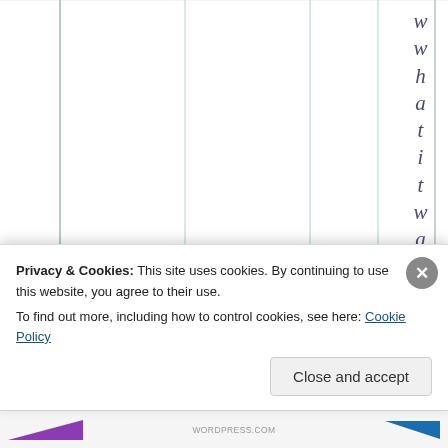[Figure (other): A table or spreadsheet grid with multiple vertical columns separated by thin teal/green lines on a white background. The grid occupies most of the visible area.]
w w h a t i t w a s t
Privacy & Cookies: This site uses cookies. By continuing to use this website, you agree to their use. To find out more, including how to control cookies, see here: Cookie Policy
Close and accept